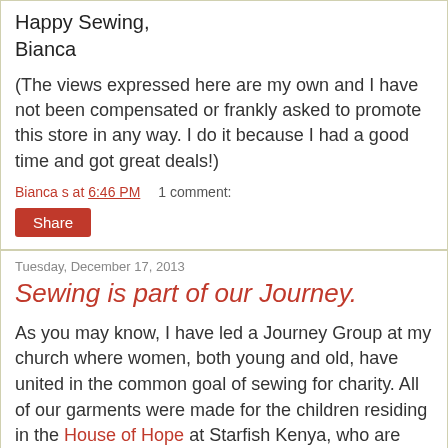Happy Sewing,
Bianca
(The views expressed here are my own and I have not been compensated or frankly asked to promote this store in any way. I do it because I had a good time and got great deals!)
Bianca s at 6:46 PM    1 comment:
Share
Tuesday, December 17, 2013
Sewing is part of our Journey.
As you may know, I have led a Journey Group at my church where women, both young and old, have united in the common goal of sewing for charity. All of our garments were made for the children residing in the House of Hope at Starfish Kenya, who are orphaned by the HIV/AIDS pandemic in Kenya. I wrote about the Summer experience here and beginning of the fall session here.